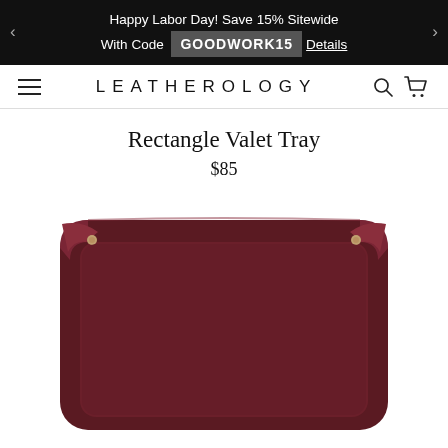Happy Labor Day! Save 15% Sitewide With Code GOODWORK15 Details
LEATHEROLOGY
Rectangle Valet Tray
$85
[Figure (photo): Top-down view of a dark burgundy/maroon leather rectangle valet tray with folded corners and metal snaps, photographed against a white background.]